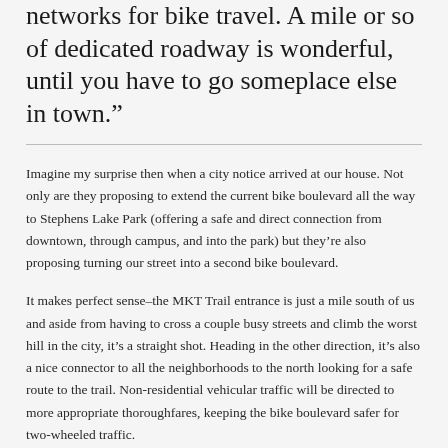networks for bike travel. A mile or so of dedicated roadway is wonderful, until you have to go someplace else in town.”
Imagine my surprise then when a city notice arrived at our house. Not only are they proposing to extend the current bike boulevard all the way to Stephens Lake Park (offering a safe and direct connection from downtown, through campus, and into the park) but they’re also proposing turning our street into a second bike boulevard.
It makes perfect sense–the MKT Trail entrance is just a mile south of us and aside from having to cross a couple busy streets and climb the worst hill in the city, it’s a straight shot. Heading in the other direction, it’s also a nice connector to all the neighborhoods to the north looking for a safe route to the trail. Non-residential vehicular traffic will be directed to more appropriate thoroughfares, keeping the bike boulevard safer for two-wheeled traffic.